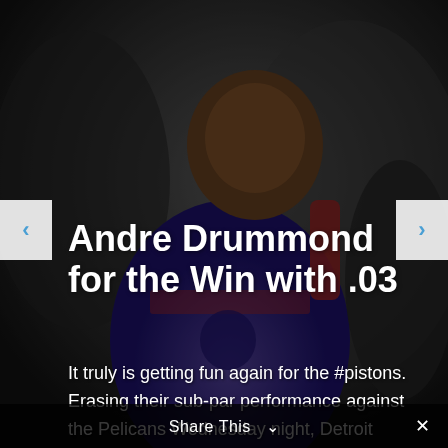[Figure (photo): Grayscale/muted photo of NBA player Andre Drummond in a Detroit Pistons jersey, celebrating with mouth open, arms up. Dark background with another player partially visible on the right.]
Andre Drummond for the Win with .03
It truly is getting fun again for the #pistons. Erasing their sub-par performance against the Pelicans Wednesday night, Detroit snuck out of Indiana with another last second win. This time courtesy of Andre Drummond. I'm pretty sure long time Pistons fans are...
Share This ∨